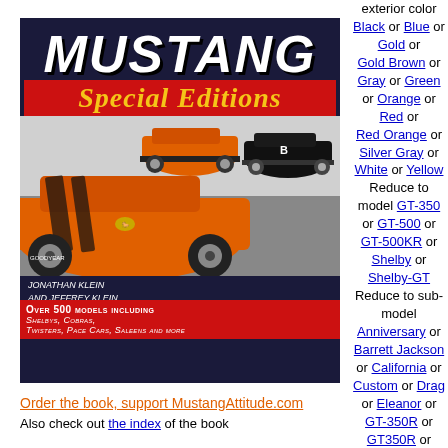[Figure (photo): Book cover of 'Mustang Special Editions' by Jonathan Klein and Jeffrey Klein, showing orange Mustangs on a track, with red band overlay and text 'Over 500 Models Including Shelby's, Cobras, Twisters, Pace Cars, Saleens and More']
Order the book, support MustangAttitude.com
Also check out the index of the book
exterior color
Black or Blue or
Gold or
Gold Brown or
Gray or Green
or Orange or
Red or
Red Orange or
Silver Gray or
White or Yellow
Reduce to
model GT-350
or GT-500 or
GT-500KR or
Shelby or
Shelby-GT
Reduce to sub-
model
Anniversary or
Barrett Jackson
or California or
Custom or Drag
or Eleanor or
GT-350R or
GT350R or
Heritage Edition